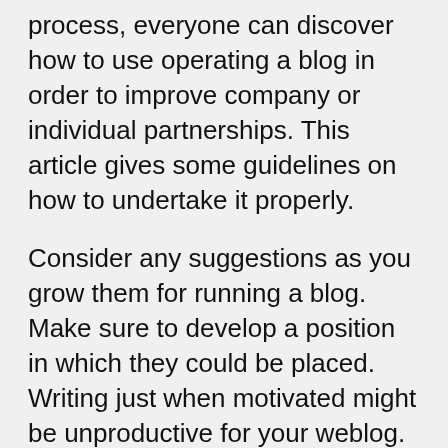process, everyone can discover how to use operating a blog in order to improve company or individual partnerships. This article gives some guidelines on how to undertake it properly.
Consider any suggestions as you grow them for running a blog. Make sure to develop a position in which they could be placed. Writing just when motivated might be unproductive for your weblog. Frequently, the ideal ideas can appear when you're not able to blog. So give them a spot to increase and blossom.
If you are creating your site, look at purchasing your very own domain name, rather than utilizing a free site. Domain names are